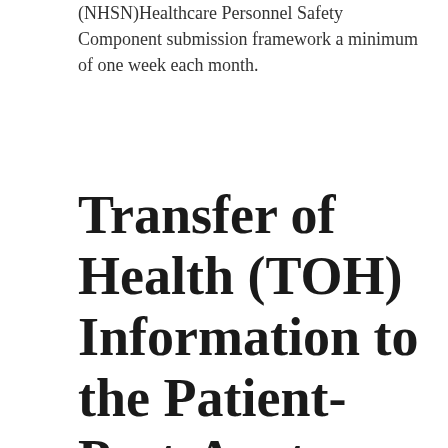(NHSN)Healthcare Personnel Safety Component submission framework a minimum of one week each month.
Transfer of Health (TOH) Information to the Patient-Post-Acute Care (PAC) measure documentation